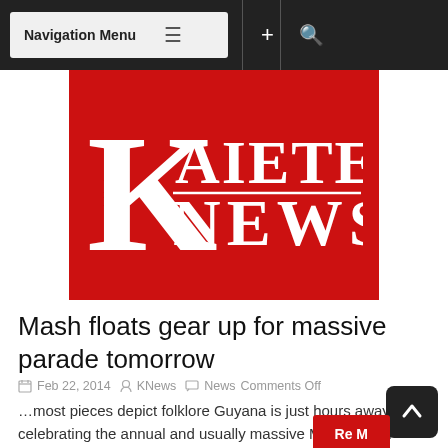Navigation Menu
[Figure (logo): Kaieteur News logo — large red background with white serif text reading 'KAIETEUR NEWS', with a large decorative 'K' on the left]
Mash floats gear up for massive parade tomorrow
Feb 22, 2014  KNews  News Comments Off
…most pieces depict folklore Guyana is just hours away from celebrating the annual and usually massive Mashramani Parade. The result is that works at the various 'Mash Camps' have intensified....